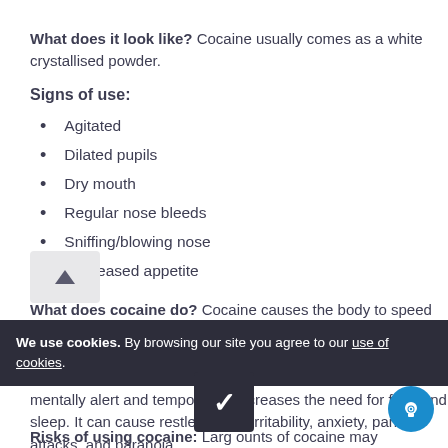What does it look like? Cocaine usually comes as a white crystallised powder.
Signs of use:
Agitated
Dilated pupils
Dry mouth
Regular nose bleeds
Sniffing/blowing nose
Decreased appetite
What does cocaine do? Cocaine causes the body to speed up. It increases heart rate, breathing rate, and increases your body temperature. It can make you feel energetic and confident. It can also make you feel fidgety, euphoric, talkative, mentally alert and temporarily decreases the need for food and sleep. It can cause restlessness, irritability, anxiety, panic attacks, and paranoia.
Risks of using cocaine: Large amounts of cocaine may